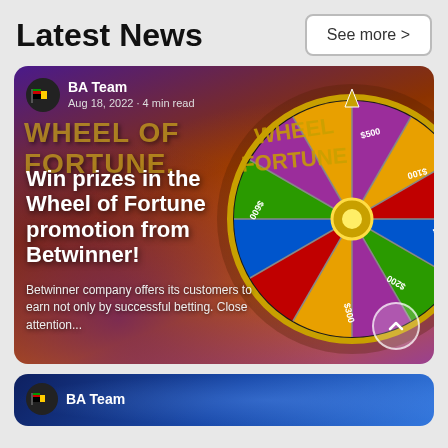Latest News
See more >
[Figure (photo): Wheel of Fortune promotional image with colorful spinning wheel showing dollar amounts, on a purple/orange background. Article card overlay with author info and title text.]
BA Team
Aug 18, 2022 · 4 min read
Win prizes in the Wheel of Fortune promotion from Betwinner!
Betwinner company offers its customers to earn not only by successful betting. Close attention...
[Figure (photo): Second article card with blue lightning background, partially visible. Shows BA Team author logo.]
BA Team